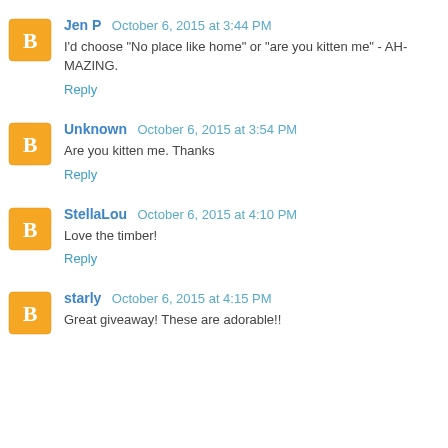Jen P  October 6, 2015 at 3:44 PM
I'd choose "No place like home" or "are you kitten me" - AH-MAZING.
Reply
Unknown  October 6, 2015 at 3:54 PM
Are you kitten me. Thanks
Reply
StellaLou  October 6, 2015 at 4:10 PM
Love the timber!
Reply
starly  October 6, 2015 at 4:15 PM
Great giveaway! These are adorable!!